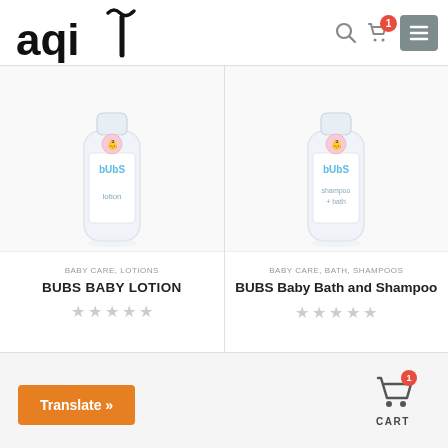aqi — logo with search, cart (1), and menu icons
[Figure (photo): BUBS baby lotion bottle, white with blue/pink text, on light background]
BABY CARE, LOTIONS
BUBS BABY LOTION
★★★★★ (no fill, 5 grey stars)
[Figure (photo): BUBS baby bath and shampoo bottle, white with blue/pink text, on light background]
BABY CARE, BATH, SHAMPOOS
BUBS Baby Bath and Shampoo
★★★★★ (no fill, 5 grey stars)
Translate » button | CART icon with badge 1